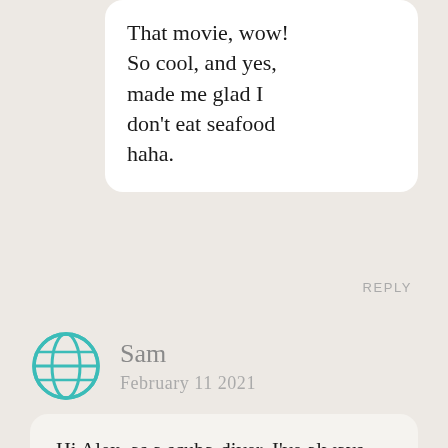That movie, wow! So cool, and yes, made me glad I don't eat seafood haha.
REPLY
Sam
February 11 2021
Hi Alex, as a scuba-diver, I've always wanted to travel to Tonga to see the majestic humpback whales myself. I didn't know there are so many humpback whales in Dominican Republic. Gosh, I just miss traveling so much. I remember moving around so much back in the days – being nomad is such a joy! I had to